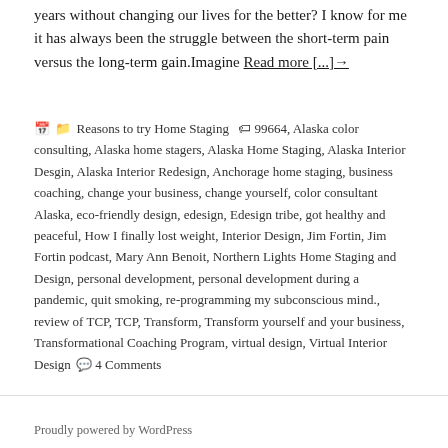years without changing our lives for the better? I know for me it has always been the struggle between the short-term pain versus the long-term gain.Imagine Read more [...] →
🗓 📁 Reasons to try Home Staging 🏷 99664, Alaska color consulting, Alaska home stagers, Alaska Home Staging, Alaska Interior Desgin, Alaska Interior Redesign, Anchorage home staging, business coaching, change your business, change yourself, color consultant Alaska, eco-friendly design, edesign, Edesign tribe, got healthy and peaceful, How I finally lost weight, Interior Design, Jim Fortin, Jim Fortin podcast, Mary Ann Benoit, Northern Lights Home Staging and Design, personal development, personal development during a pandemic, quit smoking, re-programming my subconscious mind., review of TCP, TCP, Transform, Transform yourself and your business, Transformational Coaching Program, virtual design, Virtual Interior Design 💬 4 Comments
Proudly powered by WordPress